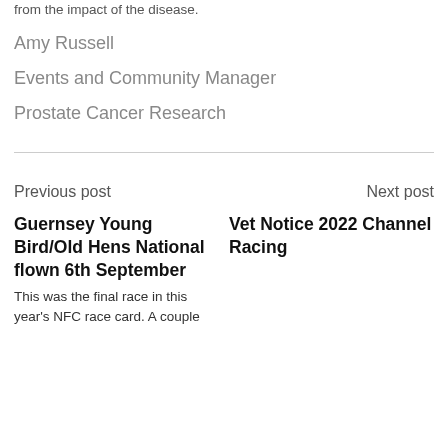from the impact of the disease.
Amy Russell
Events and Community Manager
Prostate Cancer Research
Previous post
Next post
Guernsey Young Bird/Old Hens National flown 6th September
This was the final race in this year's NFC race card. A couple
Vet Notice 2022 Channel Racing